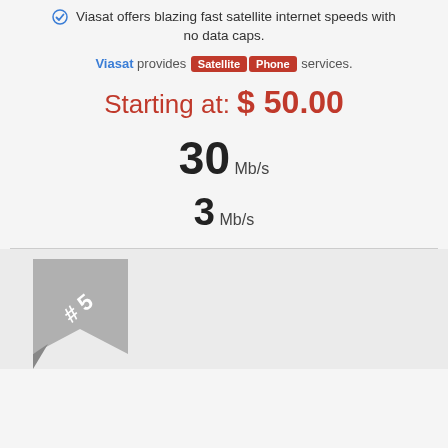Viasat offers blazing fast satellite internet speeds with no data caps.
Viasat provides Satellite Phone services.
Starting at: $ 50.00
30 Mb/s
3 Mb/s
[Figure (illustration): A gray folded ribbon banner with '#5' text on it, positioned in bottom-left corner of a light gray section.]